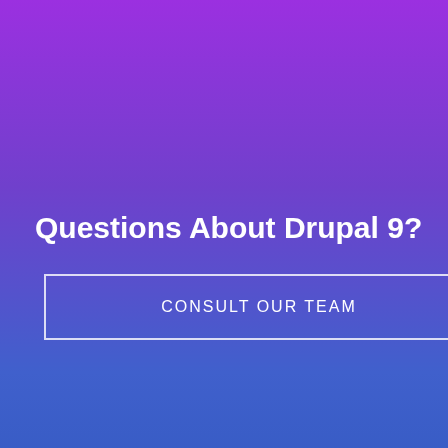[Figure (illustration): Purple to blue gradient background section of a webpage]
Questions About Drupal 9?
CONSULT OUR TEAM
We use cookies and other identifiers to help improve your online experience. By using our website you agree to this. To learn more, including how to change your settings, see our Privacy Policy.
Accept and Close ✕
Your browser settings do not allow cross-site tracking for advertising. Click on this page to allow AdRoll to use cross-site tracking to tailor ads to you. Learn more or opt out of this AdRoll tracking by clicking here. This message only appears once.